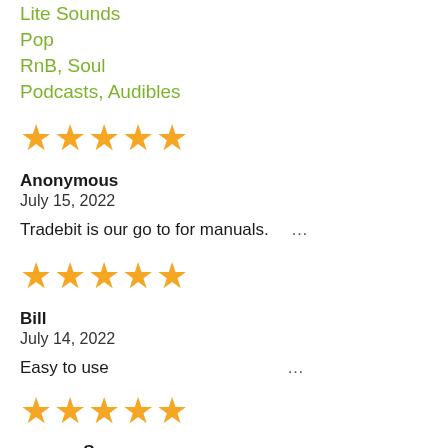Lite Sounds
Pop
RnB, Soul
Podcasts, Audibles
★★★★★
Anonymous
July 15, 2022
Tradebit is our go to for manuals.   …
★★★★★
Bill
July 14, 2022
Easy to use   …
★★★★★
sammy S.
July 14, 2022
no pin callouts for the connectors, left guessing what wire matches which, in locations, and a 3333